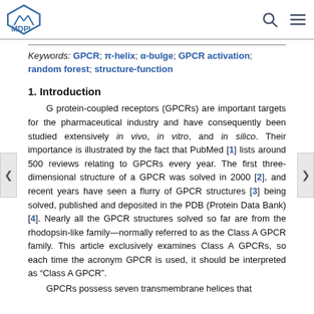MDPI
Keywords: GPCR; π-helix; α-bulge; GPCR activation; random forest; structure-function
1. Introduction
G protein-coupled receptors (GPCRs) are important targets for the pharmaceutical industry and have consequently been studied extensively in vivo, in vitro, and in silico. Their importance is illustrated by the fact that PubMed [1] lists around 500 reviews relating to GPCRs every year. The first three-dimensional structure of a GPCR was solved in 2000 [2], and recent years have seen a flurry of GPCR structures [3] being solved, published and deposited in the PDB (Protein Data Bank) [4]. Nearly all the GPCR structures solved so far are from the rhodopsin-like family—normally referred to as the Class A GPCR family. This article exclusively examines Class A GPCRs, so each time the acronym GPCR is used, it should be interpreted as “Class A GPCR”.
GPCRs possess seven transmembrane helices that